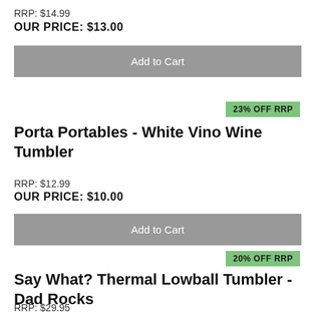RRP: $14.99
OUR PRICE: $13.00
Add to Cart
23% OFF RRP
Porta Portables - White Vino Wine Tumbler
RRP: $12.99
OUR PRICE: $10.00
Add to Cart
20% OFF RRP
Say What? Thermal Lowball Tumbler - Dad Rocks
RRP: $29.95
OUR PRICE: $24.00